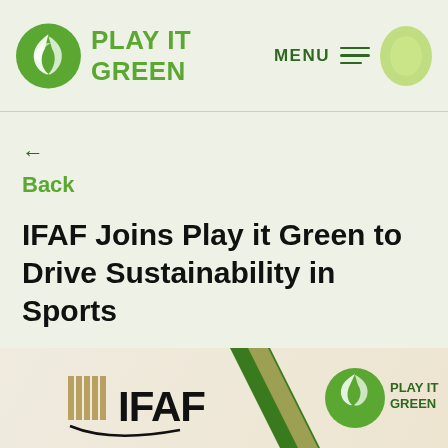PLAY IT GREEN  MENU
← Back
IFAF Joins Play it Green to Drive Sustainability in Sports
[Figure (logo): Combined IFAF and Play It Green logos side by side on a tan/cream background with a diagonal green stripe divider. Left shows IFAF logo in dark text with gold/khaki stripes, right shows Play It Green green leaf logo with 'PLAY IT GREEN' text in green.]